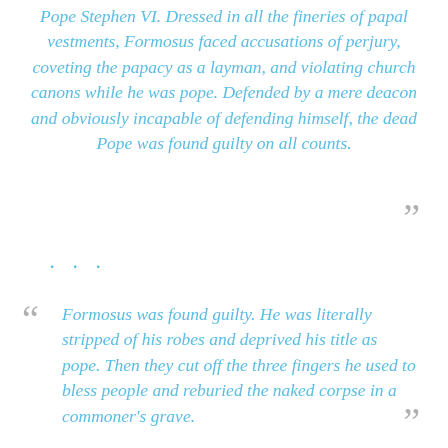Pope Stephen VI. Dressed in all the fineries of papal vestments, Formosus faced accusations of perjury, coveting the papacy as a layman, and violating church canons while he was pope. Defended by a mere deacon and obviously incapable of defending himself, the dead Pope was found guilty on all counts.
...
Formosus was found guilty. He was literally stripped of his robes and deprived his title as pope. Then they cut off the three fingers he used to bless people and reburied the naked corpse in a commoner's grave.